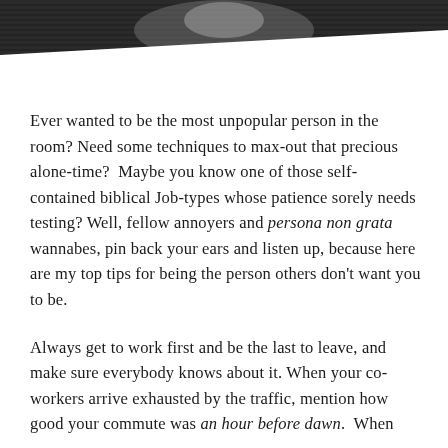[Figure (illustration): Black and white engraving/illustration of a figure, partially visible at the top of the page with diagonal cut-off]
Ever wanted to be the most unpopular person in the room? Need some techniques to max-out that precious alone-time?  Maybe you know one of those self-contained biblical Job-types whose patience sorely needs testing? Well, fellow annoyers and persona non grata wannabes, pin back your ears and listen up, because here are my top tips for being the person others don’t want you to be.
Always get to work first and be the last to leave, and make sure everybody knows about it. When your co-workers arrive exhausted by the traffic, mention how good your commute was an hour before dawn.  When